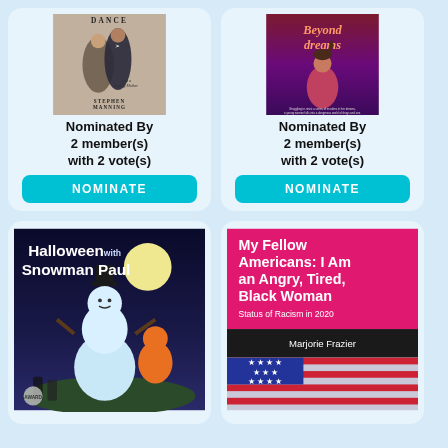[Figure (illustration): Book cover: a dancing couple in formal attire, title partially visible 'DANCE', subtitle 'And a Loving Mother', author 'STEPHEN MANNING']
Nominated By 2 member(s) with 2 vote(s)
NOMINATE
[Figure (illustration): Book cover: a girl with a ponytail seen from behind, bold cursive title 'Beyond dreams', dark red/purple background]
Nominated By 2 member(s) with 2 vote(s)
NOMINATE
[Figure (illustration): Book cover: 'Halloween with Snowman Paul', illustrated children's book with snowman and Halloween characters under a full moon]
[Figure (illustration): Book cover: 'My Fellow Americans: I Am an Angry, Tired, Black Woman', Status of Racism in 2020, Marjorie Frazier, hot pink top, American flag at bottom]